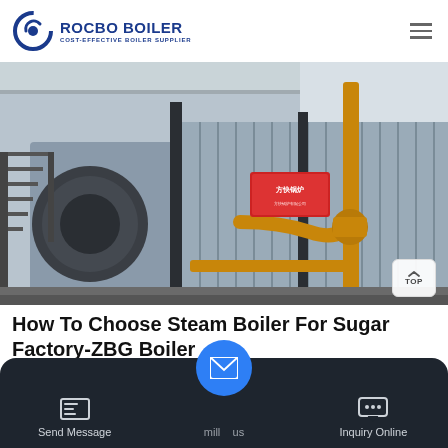ROCBO BOILER — COST-EFFECTIVE BOILER SUPPLIER
[Figure (photo): Industrial steam boiler installation in a factory setting. Large cylindrical boiler body with yellow piping and valves, corrugated metal cladding on the main unit, metal staircase on the left, indoor factory environment with overhead structure visible.]
How To Choose Steam Boiler For Sugar Factory-ZBG Boiler
Send Message | mill us | Inquiry Online